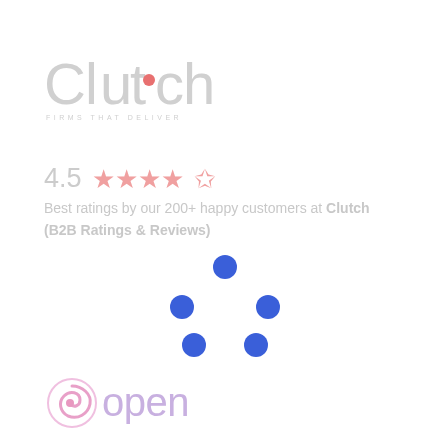[Figure (logo): Clutch logo with tagline 'FIRMS THAT DELIVER' — large light gray wordmark with a small red dot inside the 't']
4.5 ★★★★☆  Best ratings by our 200+ happy customers at Clutch (B2B Ratings & Reviews)
[Figure (infographic): Five blue loading/spinner dots arranged in a circular pattern indicating loading state]
[Figure (logo): Open (BankOpen) logo — swirl icon in pink/purple gradient followed by the word 'open' in purple/lavender light font]
We developed BankOpen Asia's first neo bank for SMEs, later received Investment with VC & ICICI Bank